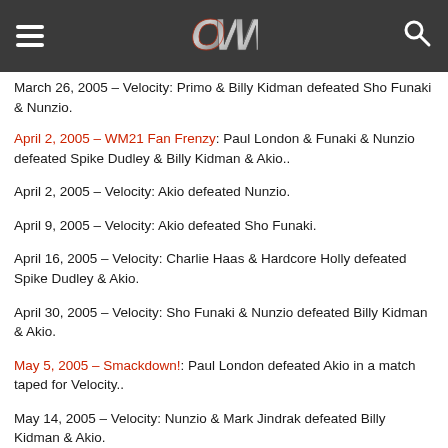OWW header with logo and navigation
March 26, 2005 – Velocity: Primo & Billy Kidman defeated Sho Funaki & Nunzio.
April 2, 2005 – WM21 Fan Frenzy: Paul London & Funaki & Nunzio defeated Spike Dudley & Billy Kidman & Akio..
April 2, 2005 – Velocity: Akio defeated Nunzio.
April 9, 2005 – Velocity: Akio defeated Sho Funaki.
April 16, 2005 – Velocity: Charlie Haas & Hardcore Holly defeated Spike Dudley & Akio.
April 30, 2005 – Velocity: Sho Funaki & Nunzio defeated Billy Kidman & Akio.
May 5, 2005 – Smackdown!: Paul London defeated Akio in a match taped for Velocity..
May 14, 2005 – Velocity: Nunzio & Mark Jindrak defeated Billy Kidman & Akio.
May 21, 2005 – Velocity: Nunzio & Funaki defeated Spike...